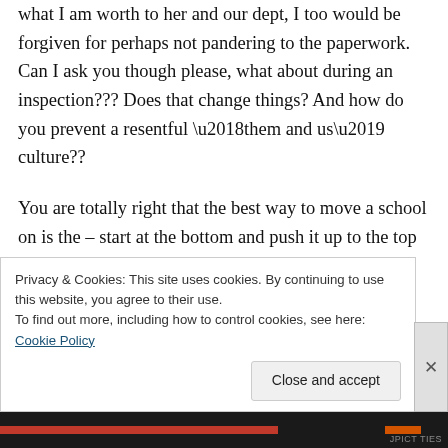what I am worth to her and our dept, I too would be forgiven for perhaps not pandering to the paperwork. Can I ask you though please, what about during an inspection??? Does that change things? And how do you prevent a resentful ‘them and us’ culture??
You are totally right that the best way to move a school on is the – start at the bottom and push it up to the top – its an excellent approach. My feeling is that the whole of the SLT must subscribe to this to make it work well though. All
Privacy & Cookies: This site uses cookies. By continuing to use this website, you agree to their use.
To find out more, including how to control cookies, see here: Cookie Policy
Close and accept